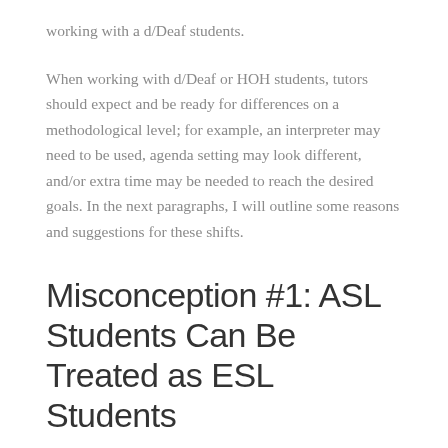working with a d/Deaf students.
When working with d/Deaf or HOH students, tutors should expect and be ready for differences on a methodological level; for example, an interpreter may need to be used, agenda setting may look different, and/or extra time may be needed to reach the desired goals. In the next paragraphs, I will outline some reasons and suggestions for these shifts.
Misconception #1: ASL Students Can Be Treated as ESL Students
Fitting d/Deaf students into a previously conceived framework can be tempting, but also detrimental,